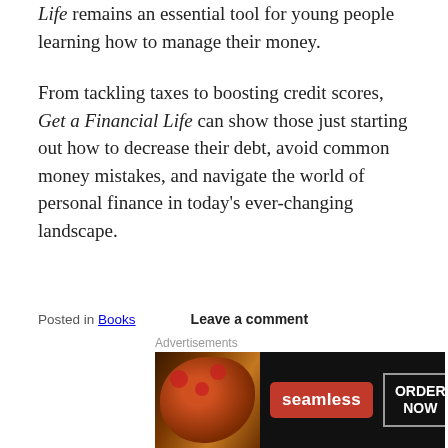Life remains an essential tool for young people learning how to manage their money.
From tackling taxes to boosting credit scores, Get a Financial Life can show those just starting out how to decrease their debt, avoid common money mistakes, and navigate the world of personal finance in today's ever-changing landscape.
Posted in Books   Leave a comment
Tagged beth kobliner, get a financial life, personal f…
[Figure (other): Seamless food ordering advertisement banner showing pizza image, Seamless logo in red, and ORDER NOW button]